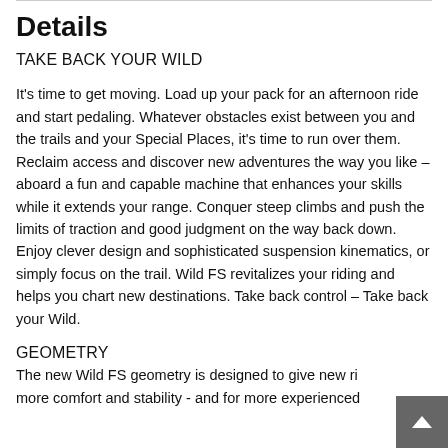Details
TAKE BACK YOUR WILD
It's time to get moving. Load up your pack for an afternoon ride and start pedaling. Whatever obstacles exist between you and the trails and your Special Places, it's time to run over them. Reclaim access and discover new adventures the way you like – aboard a fun and capable machine that enhances your skills while it extends your range. Conquer steep climbs and push the limits of traction and good judgment on the way back down. Enjoy clever design and sophisticated suspension kinematics, or simply focus on the trail. Wild FS revitalizes your riding and helps you chart new destinations. Take back control – Take back your Wild.
GEOMETRY
The new Wild FS geometry is designed to give new ri more comfort and stability - and for more experienced